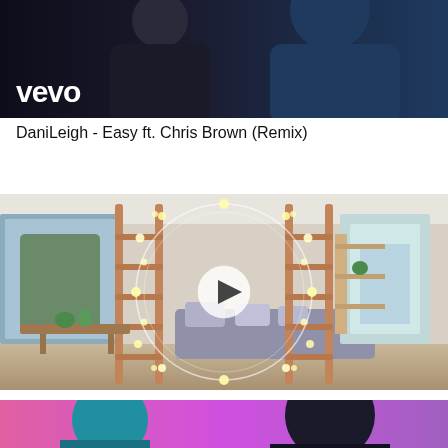[Figure (screenshot): Video thumbnail showing two people against a dark background with vevo watermark/logo in the lower left corner]
DaniLeigh - Easy ft. Chris Brown (Remix)
[Figure (screenshot): Video thumbnail of a tiny home interior (Lifestyle Series 7200) showing a living area with wooden ladders, sofa, table, and fairy string lights arranged in a decorative circle overlay, with a play button in the center]
One of our many owners of a Lifestyle Series 7200 living the dream!
[Figure (screenshot): Partial video thumbnail showing two people against a pink/colorful background, cropped at bottom of page]